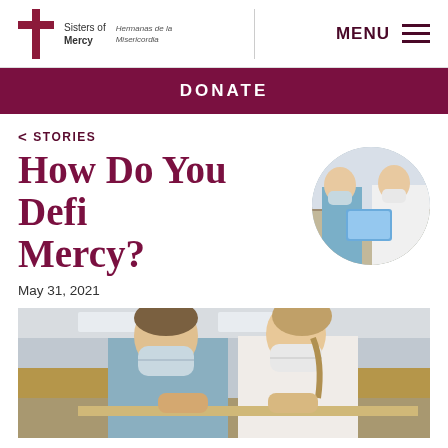Sisters of Mercy | Hermanas de la Misericordia | MENU
DONATE
< STORIES
How Do You Define Mercy?
[Figure (photo): Circular cropped photo of two young women wearing face masks, looking at a tablet together in a library/classroom setting.]
May 31, 2021
[Figure (photo): Photo of two young women wearing face masks leaning over a desk working together in a classroom.]